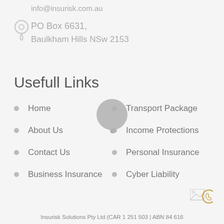info@insurisk.com.au
PO Box 6631,
Baulkham Hills NSw 2153
Usefull Links
Home
About Us
Contact Us
Business Insurance
Transport Package
Income Protections
Personal Insurance
Cyber Liability
Insurisk Solutions Pty Ltd (CAR 1 251 503 | ABN 84 616